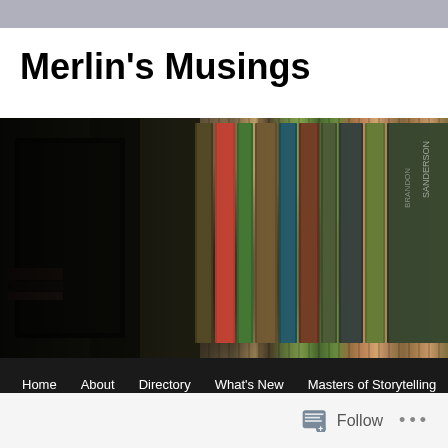Merlin's Musings
[Figure (photo): A blurred photograph of books lined up on a shelf, showing colorful book spines. The image is dark on the left with a silhouette, and shows colorful vertical book spines on the right side.]
Home   About   Directory   What's New   Masters of Storytelling   Sunday's Wisdom   Muse-ings   Discussion   Indexed Reviews
Follow  •••